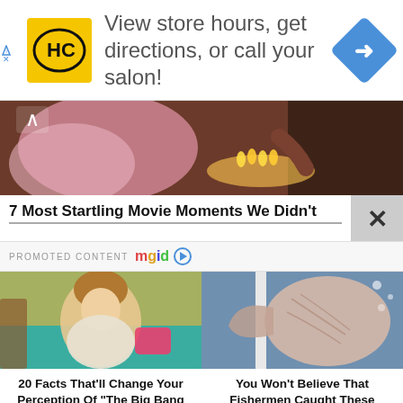[Figure (screenshot): Advertisement banner with HC salon logo, text 'View store hours, get directions, or call your salon!', and a blue navigation arrow icon]
[Figure (photo): Dark scene showing a person with candles, likely from a movie or TV show]
7 Most Startling Movie Moments We Didn't
PROMOTED CONTENT mgid
[Figure (photo): Woman sitting on a teal couch looking surprised, scene from The Big Bang Theory]
20 Facts That'll Change Your Perception Of "The Big Bang Theory"
[Figure (photo): Close-up of a large sea creature or fish caught by fishermen]
You Won't Believe That Fishermen Caught These Gigantic Monsters